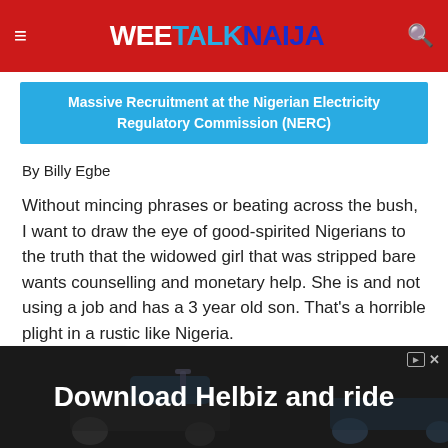WEE TALK NAIJA
Massive Recruitment at the Nigerian Electricity Regulatory Commission (NERC)
By Billy Egbe
Without mincing phrases or beating across the bush, I want to draw the eye of good-spirited Nigerians to the truth that the widowed girl that was stripped bare wants counselling and monetary help. She is and not using a job and has a 3 year old son. That’s a horrible plight in a rustic like Nigeria.
[Figure (photo): Advertisement banner for Helbiz scooter app with text 'Download Helbiz and ride' over a dark background with scooters]